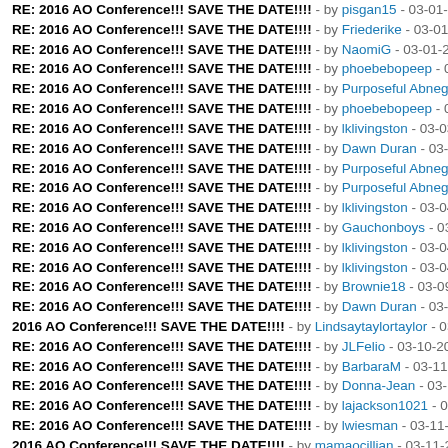RE: 2016 AO Conference!!! SAVE THE DATE!!!! - by pisgan15 - 03-01-2016,
RE: 2016 AO Conference!!! SAVE THE DATE!!!! - by Friederike - 03-01-2016,
RE: 2016 AO Conference!!! SAVE THE DATE!!!! - by NaomiG - 03-01-2016, 0
RE: 2016 AO Conference!!! SAVE THE DATE!!!! - by phoebebopeep - 03-02-
RE: 2016 AO Conference!!! SAVE THE DATE!!!! - by Purposeful Abnegation -
RE: 2016 AO Conference!!! SAVE THE DATE!!!! - by phoebebopeep - 03-02-
RE: 2016 AO Conference!!! SAVE THE DATE!!!! - by lklivingston - 03-03-2016
RE: 2016 AO Conference!!! SAVE THE DATE!!!! - by Dawn Duran - 03-04-20
RE: 2016 AO Conference!!! SAVE THE DATE!!!! - by Purposeful Abnegation -
RE: 2016 AO Conference!!! SAVE THE DATE!!!! - by Purposeful Abnegation -
RE: 2016 AO Conference!!! SAVE THE DATE!!!! - by lklivingston - 03-04-2016
RE: 2016 AO Conference!!! SAVE THE DATE!!!! - by Gauchonboys - 03-04-2
RE: 2016 AO Conference!!! SAVE THE DATE!!!! - by lklivingston - 03-04-2016
RE: 2016 AO Conference!!! SAVE THE DATE!!!! - by lklivingston - 03-04-2016
RE: 2016 AO Conference!!! SAVE THE DATE!!!! - by Brownie18 - 03-09-2016
RE: 2016 AO Conference!!! SAVE THE DATE!!!! - by Dawn Duran - 03-09-20
2016 AO Conference!!! SAVE THE DATE!!!! - by Lindsaytaylortaylor - 03-09-20
RE: 2016 AO Conference!!! SAVE THE DATE!!!! - by JLFelio - 03-10-2016, 02
RE: 2016 AO Conference!!! SAVE THE DATE!!!! - by BarbaraM - 03-11-2016,
RE: 2016 AO Conference!!! SAVE THE DATE!!!! - by Donna-Jean - 03-11-201
RE: 2016 AO Conference!!! SAVE THE DATE!!!! - by lajackson1021 - 03-11-2
RE: 2016 AO Conference!!! SAVE THE DATE!!!! - by lwiesman - 03-11-2016,
2016 AO Conference!!! SAVE THE DATE!!!! - by mamaocillian - 03-11-2016, 0
RE: 2016 AO Conference!!! SAVE THE DATE!!!! - by Rebecca Miller - 03-11-2
RE: 2016 AO Conference!!! SAVE THE DATE!!!! - by debbiese - 03-11-2016,